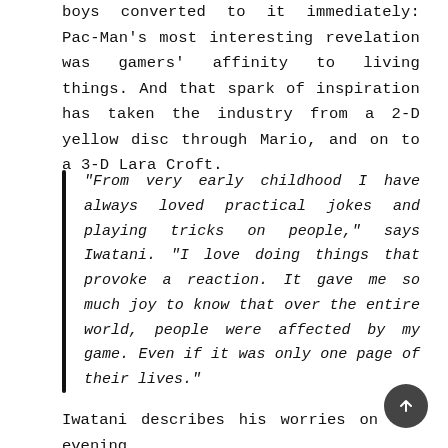boys converted to it immediately: Pac-Man's most interesting revelation was gamers' affinity to living things. And that spark of inspiration has taken the industry from a 2-D yellow disc through Mario, and on to a 3-D Lara Croft.
“From very early childhood I have always loved practical jokes and playing tricks on people,” says Iwatani. “I love doing things that provoke a reaction. It gave me so much joy to know that over the entire world, people were affected by my game. Even if it was only one page of their lives.”
Iwatani describes his worries on the evening